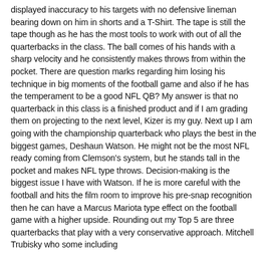displayed inaccuracy to his targets with no defensive lineman bearing down on him in shorts and a T-Shirt. The tape is still the tape though as he has the most tools to work with out of all the quarterbacks in the class. The ball comes of his hands with a sharp velocity and he consistently makes throws from within the pocket. There are question marks regarding him losing his technique in big moments of the football game and also if he has the temperament to be a good NFL QB? My answer is that no quarterback in this class is a finished product and if I am grading them on projecting to the next level, Kizer is my guy. Next up I am going with the championship quarterback who plays the best in the biggest games, Deshaun Watson. He might not be the most NFL ready coming from Clemson's system, but he stands tall in the pocket and makes NFL type throws. Decision-making is the biggest issue I have with Watson. If he is more careful with the football and hits the film room to improve his pre-snap recognition then he can have a Marcus Mariota type effect on the football game with a higher upside. Rounding out my Top 5 are three quarterbacks that play with a very conservative approach. Mitchell Trubisky who some including